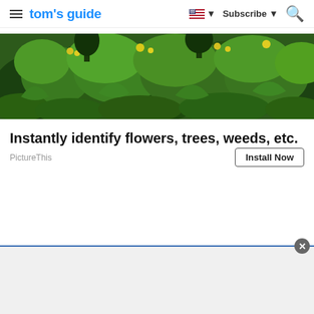tom's guide | Subscribe
[Figure (photo): Lush green garden with various plants, weeds and yellow flowers]
Instantly identify flowers, trees, weeds, etc.
PictureThis
[Figure (other): Bottom advertisement overlay with close button]